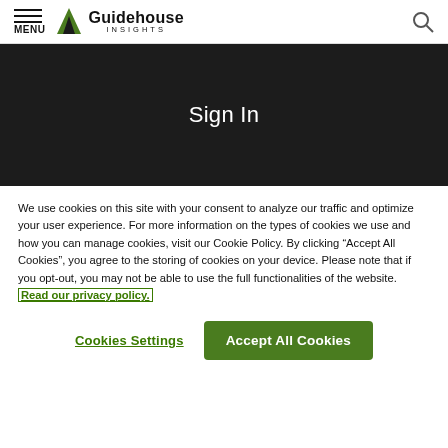MENU | Guidehouse INSIGHTS
Sign In
We use cookies on this site with your consent to analyze our traffic and optimize your user experience. For more information on the types of cookies we use and how you can manage cookies, visit our Cookie Policy. By clicking “Accept All Cookies”, you agree to the storing of cookies on your device. Please note that if you opt-out, you may not be able to use the full functionalities of the website. Read our privacy policy.
Cookies Settings
Accept All Cookies